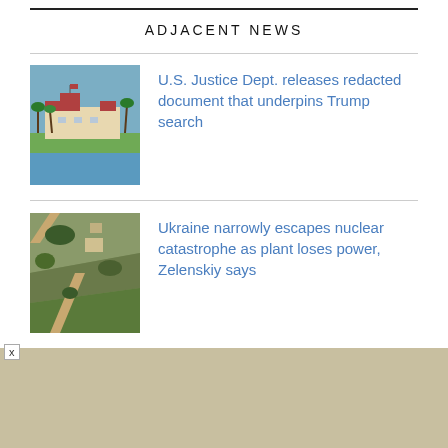ADJACENT NEWS
[Figure (photo): Thumbnail photo of Mar-a-Lago estate with palm trees and blue water]
U.S. Justice Dept. releases redacted document that underpins Trump search
[Figure (photo): Aerial satellite view of land near a nuclear power plant in Ukraine]
Ukraine narrowly escapes nuclear catastrophe as plant loses power, Zelenskiy says
[Figure (photo): Photo of a road with trees in Texas near the U.S. border]
Migrants bused to U.S. capital from Texas struggle to secure housing,